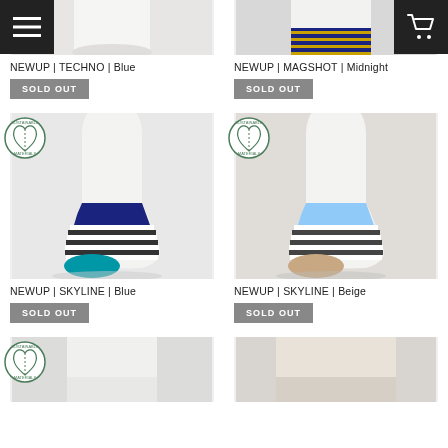[Figure (photo): NEWUP TECHNO Blue sock on mannequin foot, top cropped view, plain white sock]
NEWUP | TECHNO | Blue
SOLD OUT
[Figure (photo): NEWUP MAGSHOT Midnight sock on mannequin foot, top cropped, navy with gold stripes]
NEWUP | MAGSHOT | Midnight
SOLD OUT
[Figure (photo): NEWUP SKYLINE Blue no-show sock on mannequin, white and navy horizontal stripes with teal toe]
NEWUP | SKYLINE | Blue
SOLD OUT
[Figure (photo): NEWUP SKYLINE Beige no-show sock on mannequin, white and navy stripes with beige toe and light blue cuff]
NEWUP | SKYLINE | Beige
SOLD OUT
[Figure (photo): Bottom left product image partially visible, white sock]
[Figure (photo): Bottom right product image partially visible, beige/cream sock]